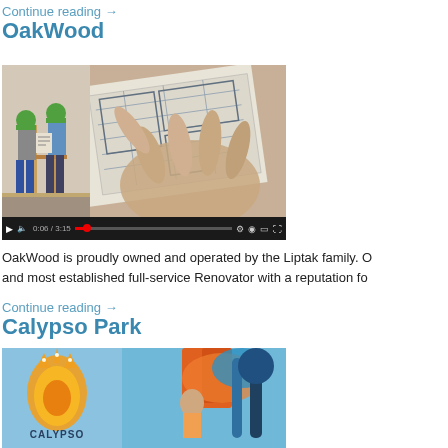Continue reading →
OakWood
[Figure (screenshot): Video player showing construction workers in hard hats on left panel and a hand examining blueprints on right panel, with video controls at bottom showing 0:06/3:15 timestamp]
OakWood is proudly owned and operated by the Liptak family. O and most established full-service Renovator with a reputation fo
Continue reading →
Calypso Park
[Figure (photo): Calypso water park promotional image with logo showing golden/yellow crown-like emblem with CALYPSO text, colorful water slides and person in background]